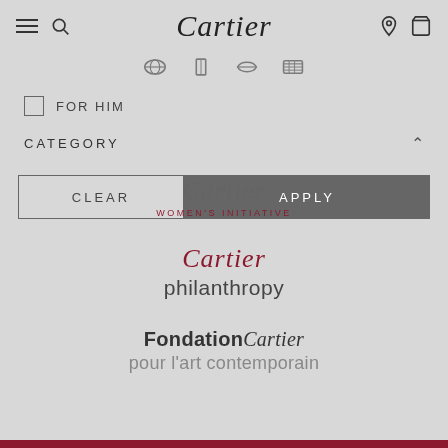[Figure (screenshot): Cartier website navigation bar with hamburger menu, search icon, Cartier script logo, location pin icon, and shopping bag icon on a light grey background]
[Figure (screenshot): Icon strip showing partially visible filter/category icons in grey]
FOR HIM (checkbox unchecked)
CATEGORY
[Figure (screenshot): CLEAR and APPLY filter buttons with Cartier Women's Initiative watermark overlay]
[Figure (logo): Cartier philanthropy logo - italic Cartier in red script above sans-serif philanthropy text]
[Figure (logo): Fondation Cartier pour l'art contemporain logo - FondationCartier in bold/italic, subtitle in grey]